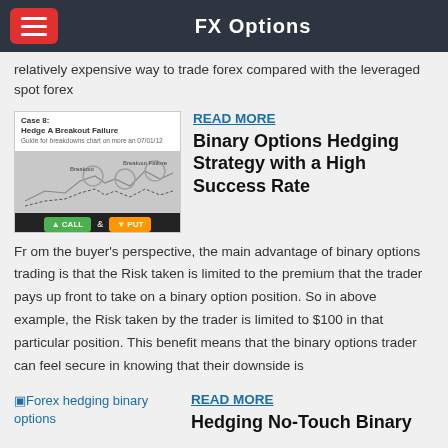FX Options
relatively expensive way to trade forex compared with the leveraged spot forex
[Figure (illustration): Trading diagram showing Case 8: Hedge A Breakout Failure with CALL and PUT buttons]
READ MORE
Binary Options Hedging Strategy with a High Success Rate
Fr om the buyer's perspective, the main advantage of binary options trading is that the Risk taken is limited to the premium that the trader pays up front to take on a binary option position. So in above example, the Risk taken by the trader is limited to $100 in that particular position. This benefit means that the binary options trader can feel secure in knowing that their downside is
[Figure (photo): Broken image placeholder for Forex hedging binary options]
READ MORE
Hedging No-Touch Binary